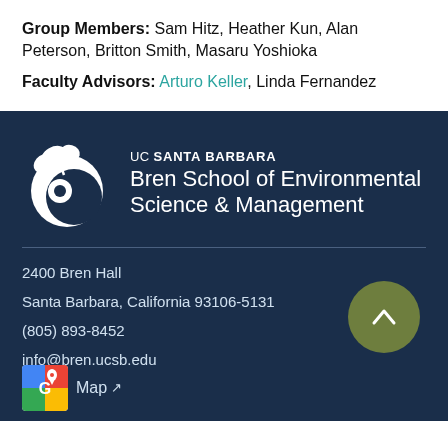Group Members: Sam Hitz, Heather Kun, Alan Peterson, Britton Smith, Masaru Yoshioka
Faculty Advisors: Arturo Keller, Linda Fernandez
[Figure (logo): UC Santa Barbara Bren School of Environmental Science & Management logo with white leaf/wave icon on dark navy background]
2400 Bren Hall
Santa Barbara, California 93106-5131
(805) 893-8452
info@bren.ucsb.edu
[Figure (other): Google Maps icon with map pin]
Map